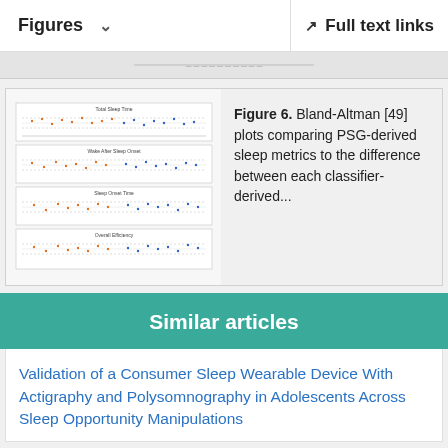Figures  ∨    Full text links
[Figure (continuous-plot): Bland-Altman plots comparing PSG-derived sleep metrics to the difference between each classifier-derived sleep metric. Four subplots shown as a small thumbnail image.]
Figure 6. Bland-Altman [49] plots comparing PSG-derived sleep metrics to the difference between each classifier-derived...
Similar articles
Validation of a Consumer Sleep Wearable Device With Actigraphy and Polysomnography in Adolescents Across Sleep Opportunity Manipulations